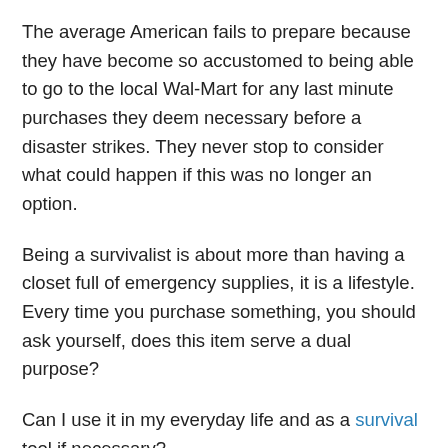The average American fails to prepare because they have become so accustomed to being able to go to the local Wal-Mart for any last minute purchases they deem necessary before a disaster strikes. They never stop to consider what could happen if this was no longer an option.
Being a survivalist is about more than having a closet full of emergency supplies, it is a lifestyle. Every time you purchase something, you should ask yourself, does this item serve a dual purpose?
Can I use it in my everyday life and as a survival tool if necessary?
For example, for me it's a tactical pen. I want something I can carry on me everyday and that has multiple use. You